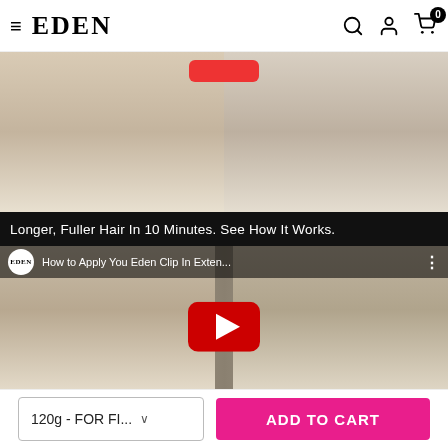EDEN
[Figure (photo): Two women with long blonde hair wearing white tops, shown from shoulders up, as a before/after or product showcase image for hair extensions]
Longer, Fuller Hair In 10 Minutes. See How It Works.
[Figure (screenshot): YouTube video thumbnail showing Eden channel logo, title 'How to Apply You Eden Clip In Exten...' with a YouTube play button overlay. Shows two women with blonde hair before and after using clip-in extensions.]
120g - FOR FI... ∨
ADD TO CART